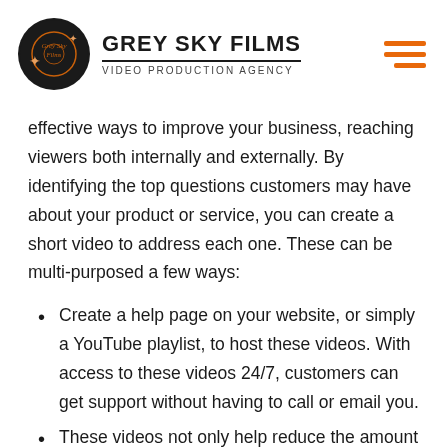GREY SKY FILMS | VIDEO PRODUCTION AGENCY
effective ways to improve your business, reaching viewers both internally and externally. By identifying the top questions customers may have about your product or service, you can create a short video to address each one. These can be multi-purposed a few ways:
Create a help page on your website, or simply a YouTube playlist, to host these videos. With access to these videos 24/7, customers can get support without having to call or email you.
These videos not only help reduce the amount of incoming calls, but for callers who do still call, links